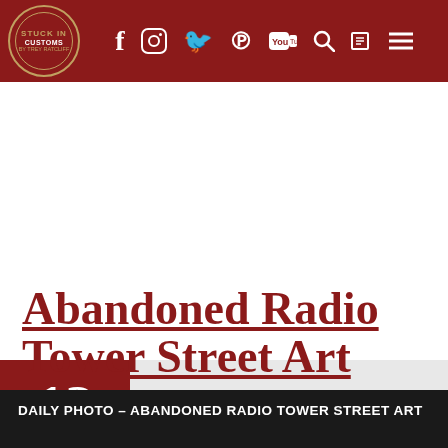Stuck In Customs — navigation header with social icons: Facebook, Instagram, Twitter, Pinterest, YouTube, Search, Newsletter, Menu
12  Apr 2021 : Monday
Abandoned Radio Tower Street Art
DAILY PHOTO – ABANDONED RADIO TOWER STREET ART